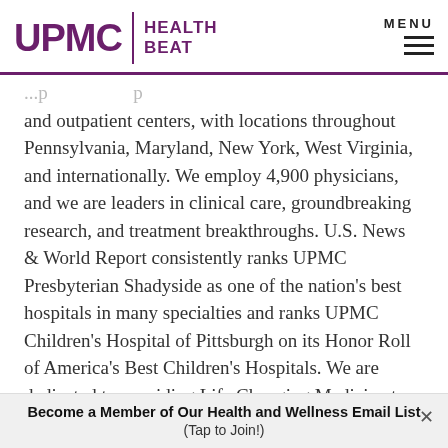UPMC | HEALTH BEAT
and outpatient centers, with locations throughout Pennsylvania, Maryland, New York, West Virginia, and internationally. We employ 4,900 physicians, and we are leaders in clinical care, groundbreaking research, and treatment breakthroughs. U.S. News & World Report consistently ranks UPMC Presbyterian Shadyside as one of the nation's best hospitals in many specialties and ranks UPMC Children's Hospital of Pittsburgh on its Honor Roll of America's Best Children's Hospitals. We are dedicated to providing Life Changing Medicine to our communities.
Become a Member of Our Health and Wellness Email List (Tap to Join!)